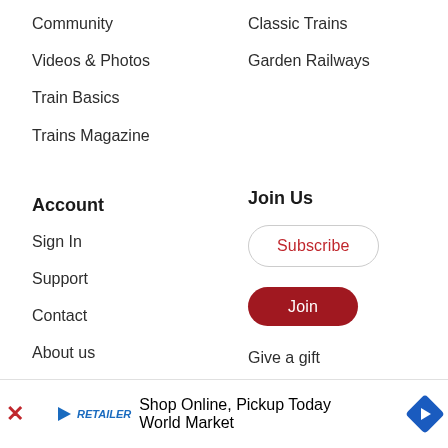Community
Videos & Photos
Train Basics
Trains Magazine
Classic Trains
Garden Railways
Account
Sign In
Support
Contact
About us
Join Us
Subscribe
Join
Give a gift
Newsletters
Advertise with us
Shop Online, Pickup Today
World Market